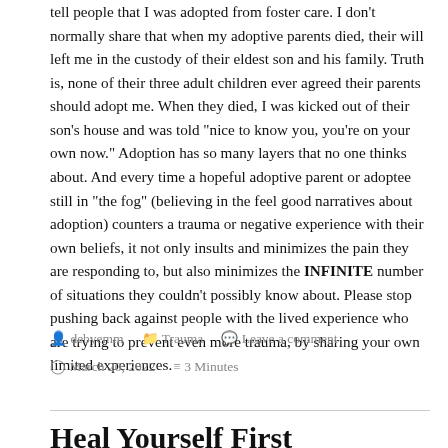tell people that I was adopted from foster care. I don't normally share that when my adoptive parents died, their will left me in the custody of their eldest son and his family. Truth is, none of their three adult children ever agreed their parents should adopt me. When they died, I was kicked out of their son's house and was told "nice to know you, you're on your own now." Adoption has so many layers that no one thinks about. And every time a hopeful adoptive parent or adoptee still in "the fog" (believing in the feel good narratives about adoption) counters a trauma or negative experience with their own beliefs, it not only insults and minimizes the pain they are responding to, but also minimizes the INFINITE number of situations they couldn't possibly know about. Please stop pushing back against people with the lived experience who are trying to prevent even more trauma, by sharing your own limited experiences.
debyemm  Trauma  Leave a comment  March 20, 2022  3 Minutes
Heal Yourself First